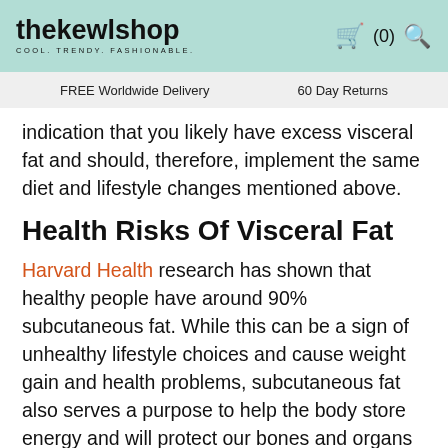thekewlshop COOL. TRENDY. FASHIONABLE. (0)
FREE Worldwide Delivery    60 Day Returns
indication that you likely have excess visceral fat and should, therefore, implement the same diet and lifestyle changes mentioned above.
Health Risks Of Visceral Fat
Harvard Health research has shown that healthy people have around 90% subcutaneous fat. While this can be a sign of unhealthy lifestyle choices and cause weight gain and health problems, subcutaneous fat also serves a purpose to help the body store energy and will protect our bones and organs from injury.